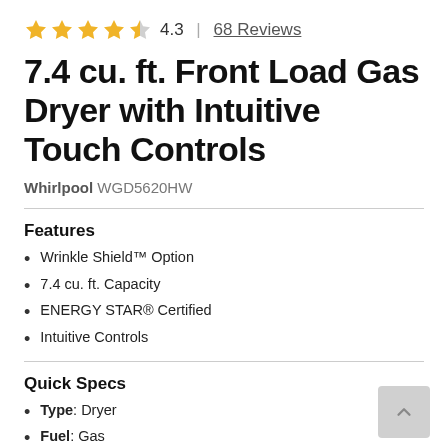[Figure (other): Star rating: 4 filled gold stars and 1 half star, rating 4.3, 68 Reviews]
7.4 cu. ft. Front Load Gas Dryer with Intuitive Touch Controls
Whirlpool WGD5620HW
Features
Wrinkle Shield™ Option
7.4 cu. ft. Capacity
ENERGY STAR® Certified
Intuitive Controls
Quick Specs
Type: Dryer
Fuel: Gas
Style: Front Loading
Width: 27"